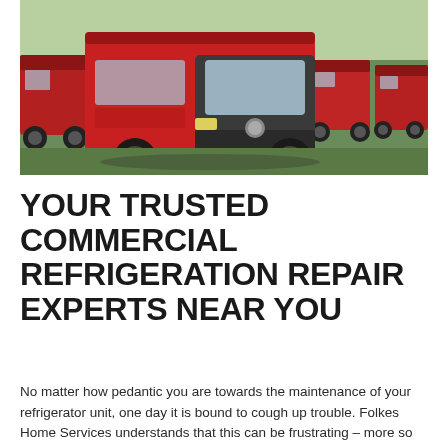[Figure (photo): Fleet of red Mercedes-Benz Sprinter service vans parked on a grassy field. One van is prominently in the foreground with branding/logo on its side, with multiple identical red vans visible in the background.]
YOUR TRUSTED COMMERCIAL REFRIGERATION REPAIR EXPERTS NEAR YOU
No matter how pedantic you are towards the maintenance of your refrigerator unit, one day it is bound to cough up trouble. Folkes Home Services understands that this can be frustrating – more so as